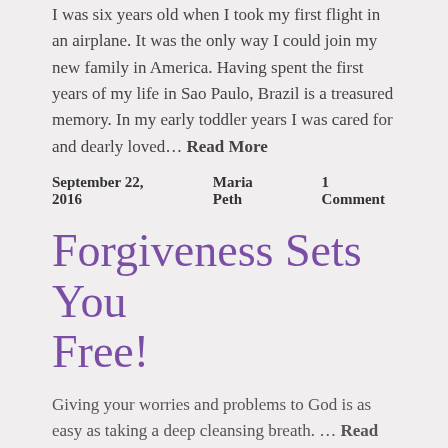I was six years old when I took my first flight in an airplane. It was the only way I could join my new family in America. Having spent the first years of my life in Sao Paulo, Brazil is a treasured memory. In my early toddler years I was cared for and dearly loved… Read More
September 22, 2016   Maria Peth   1 Comment
Forgiveness Sets You Free!
Giving your worries and problems to God is as easy as taking a deep cleansing breath. … Read More
July 30, 2016   Maria Peth
Grief, When a Child dies